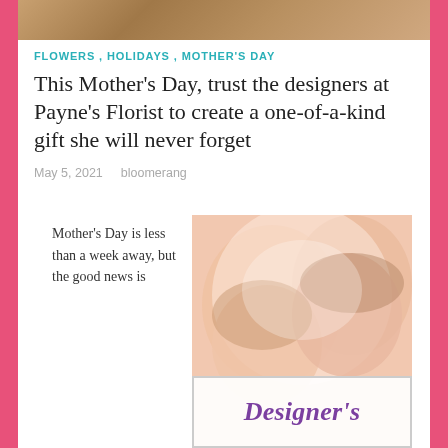[Figure (photo): Top banner photo showing flowers or a person, partially visible at top of page]
FLOWERS, HOLIDAYS, MOTHER'S DAY
This Mother's Day, trust the designers at Payne's Florist to create a one-of-a-kind gift she will never forget
May 5, 2021   bloomerang
Mother's Day is less than a week away, but the good news is
[Figure (photo): Photo of a mother and child touching noses/kissing, with a 'Designer's Choice' text banner overlay at the bottom]